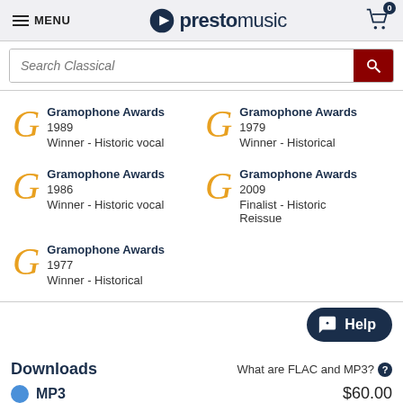MENU   prestomusic   0
Search Classical
Gramophone Awards 1989
Winner - Historic vocal
Gramophone Awards 1979
Winner - Historical
Gramophone Awards 1986
Winner - Historic vocal
Gramophone Awards 2009
Finalist - Historic Reissue
Gramophone Awards 1977
Winner - Historical
Downloads
What are FLAC and MP3?
MP3   $60.00